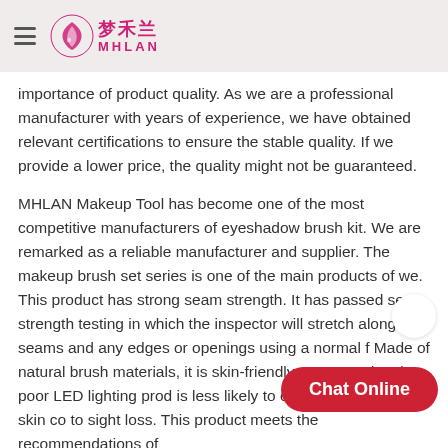梦禾兰 MHLAN (logo)
importance of product quality. As we are a professional manufacturer with years of experience, we have obtained relevant certifications to ensure the stable quality. If we provide a lower price, the quality might not be guaranteed.
MHLAN Makeup Tool has become one of the most competitive manufacturers of eyeshadow brush kit. We are remarked as a reliable manufacturer and supplier. The makeup brush set series is one of the main products of we. This product has strong seam strength. It has passed seam strength testing in which the inspector will stretch along its seams and any edges or openings using a normal f Made of natural brush materials, it is skin-friendly. Compared to the poor LED lighting prod is less likely to cause harm to the skin co to sight loss. This product meets the recommendations of